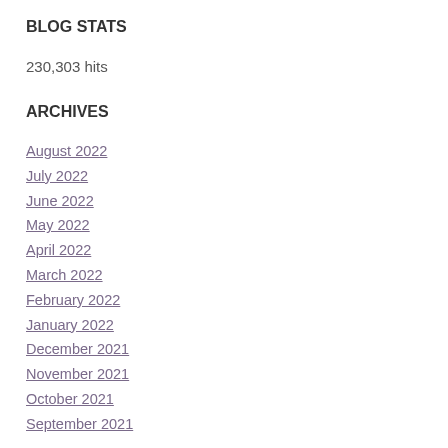BLOG STATS
230,303 hits
ARCHIVES
August 2022
July 2022
June 2022
May 2022
April 2022
March 2022
February 2022
January 2022
December 2021
November 2021
October 2021
September 2021